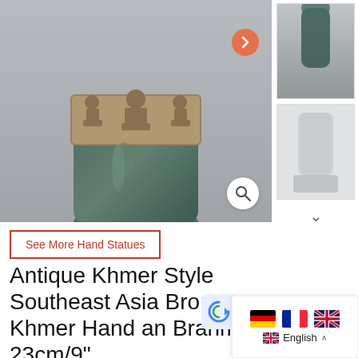[Figure (photo): Close-up photograph of an antique Khmer style bronze hand and Brahma sculpture with Buddha figures carved around the wrist, shown on a light gray background. Main product image with navigation arrow and magnify button overlaid.]
[Figure (photo): Thumbnail image 1: Full view of bronze Khmer hand and Brahma sculpture]
[Figure (photo): Thumbnail image 2: Another view of the sculpture on a white pedestal stand]
See More Hand Statues
Antique Khmer Style Southeast Asia Bronze Khmer Hand an Brahma- 23cm/9"